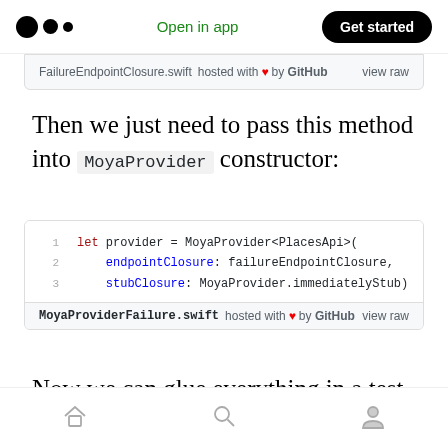Open in app | Get started
FailureEndpointClosure.swift hosted with ♥ by GitHub  view raw
Then we just need to pass this method into MoyaProvider constructor:
[Figure (screenshot): Code block showing Swift code: let provider = MoyaProvider<PlacesApi>( endpointClosure: failureEndpointClosure, stubClosure: MoyaProvider.immediatelyStub)]
MoyaProviderFailure.swift hosted with ♥ by GitHub  view raw
Now we can glue everything in a test case:
Home | Search | Profile